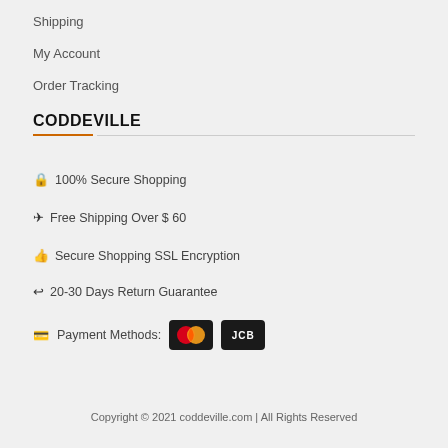Shipping
My Account
Order Tracking
CODDEVILLE
🔒 100% Secure Shopping
✈ Free Shipping Over $ 60
👍 Secure Shopping SSL Encryption
↩ 20-30 Days Return Guarantee
💳 Payment Methods: [Mastercard] [JCB]
Copyright © 2021 coddeville.com | All Rights Reserved